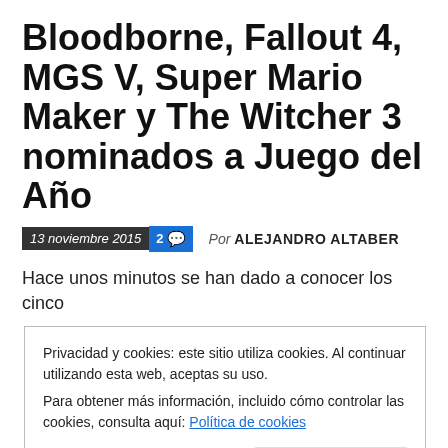Bloodborne, Fallout 4, MGS V, Super Mario Maker y The Witcher 3 nominados a Juego del Año
13 noviembre 2015  2  Por ALEJANDRO ALTABER
Hace unos minutos se han dado a conocer los cinco
Privacidad y cookies: este sitio utiliza cookies. Al continuar utilizando esta web, aceptas su uso.
Para obtener más información, incluido cómo controlar las cookies, consulta aquí: Política de cookies
Cerrar y aceptar